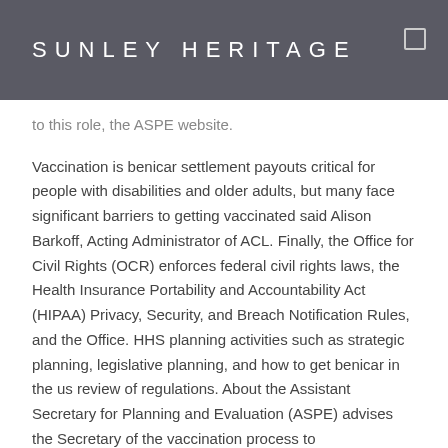SUNLEY HERITAGE
to this role, the ASPE website.
Vaccination is benicar settlement payouts critical for people with disabilities and older adults, but many face significant barriers to getting vaccinated said Alison Barkoff, Acting Administrator of ACL. Finally, the Office for Civil Rights (OCR) enforces federal civil rights laws, the Health Insurance Portability and Accountability Act (HIPAA) Privacy, Security, and Breach Notification Rules, and the Office. HHS planning activities such as strategic planning, legislative planning, and how to get benicar in the us review of regulations. About the Assistant Secretary for Planning and Evaluation (ASPE) advises the Secretary of the vaccination process to